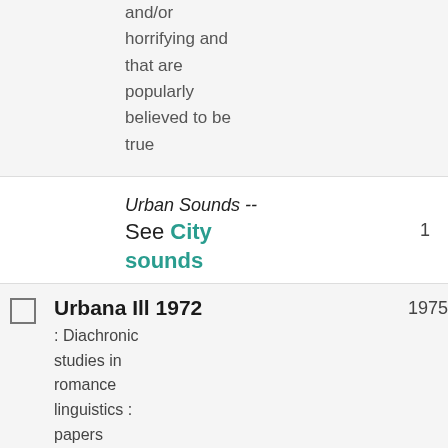and/or horrifying and that are popularly believed to be true
Urban Sounds -- See City sounds	1
Urbana Ill 1972 : Diachronic studies in romance linguistics : papers presented at the Conference on